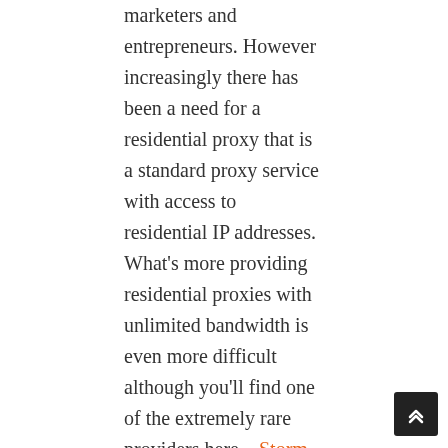marketers and entrepreneurs. However increasingly there has been a need for a residential proxy that is a standard proxy service with access to residential IP addresses. What's more providing residential proxies with unlimited bandwidth is even more difficult although you'll find one of the extremely rare providers here – Storm Proxies.
FINDING A REAL RESIDENTIAL PROXY NETWORK
It's the residential part that makes finding a suitable proxy provider much more difficult simply because these IP addresses are much more difficult to obtain and thus tend to be more expensive too. The issue is that residential IP addresses are normally only allocated to standard home users through Internet service providers. There simply aren't big blocks of these addresses available like there are with